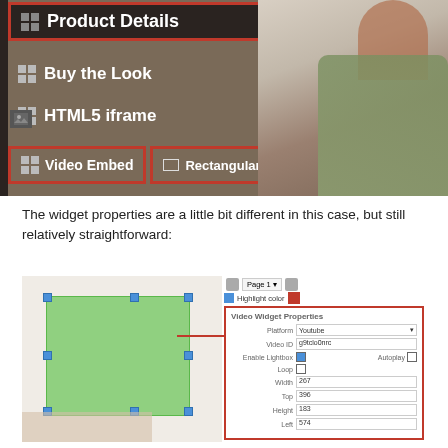[Figure (screenshot): UI screenshot showing a dropdown menu with options: Product Details, Buy the Look, HTML5 iframe, Video Embed (highlighted with red border), and Rectangular Tool (highlighted with red border). Left sidebar with dark background and icons. Right side shows partial photo of a woman.]
The widget properties are a little bit different in this case, but still relatively straightforward:
[Figure (screenshot): Screenshot showing a canvas with a green rectangle selected (with blue handles), connected by a red arrow to a Video Widget Properties panel showing fields: Platform (Youtube), Video ID (g9tclo0nrc), Enable Lightbox (checked), Autoplay (unchecked), Loop (unchecked), Width: 267, Top: 396, Height: 183, Left: 574. Above the canvas are Page 1 navigation and Highlight color (red) controls.]